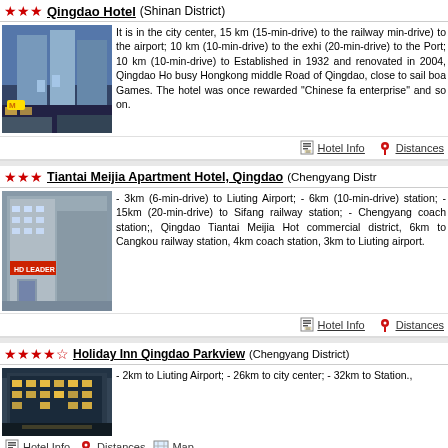★★★ Qingdao Hotel (Shinan District)
[Figure (photo): Photo of Qingdao Hotel building exterior]
It is in the city center, 15 km (15-min-drive) to the railway min-drive) to the airport; 10 km (10-min-drive) to the exhi (20-min-drive) to the Port; 10 km (10-min-drive) to Established in 1932 and renovated in 2004, Qingdao Ho busy Hongkong middle Road of Qingdao, close to sail boa Games. The hotel was once rewarded "Chinese fa enterprise" and so on.
Hotel Info   Distances
★★★ Tiantai Meijia Apartment Hotel, Qingdao (Chengyang Distr
[Figure (photo): Photo of Tiantai Meijia Apartment Hotel exterior]
- 3km (6-min-drive) to Liuting Airport; - 6km (10-min-drive) station; - 15km (20-min-drive) to Sifang railway station; - Chengyang coach station;, Qingdao Tiantai Meijia Hot commercial district, 6km to Cangkou railway station, 4km coach station, 3km to Liuting airport.
Hotel Info   Distances
★★★★☆ Holiday Inn Qingdao Parkview (Chengyang District)
[Figure (photo): Photo of Holiday Inn Qingdao Parkview exterior]
- 2km to Liuting Airport; - 26km to city center; - 32km to Station.,
Hotel Info   Distances   Map